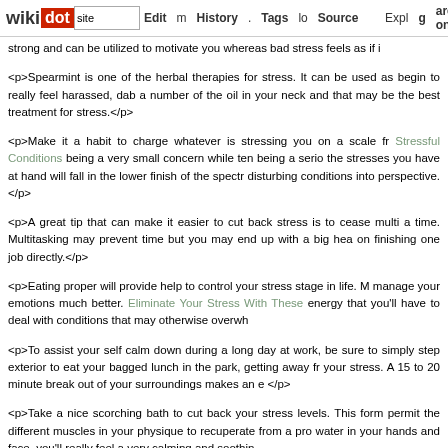wikidot | site | Edit | History | Tags | Source | Explore | Share on [Twitter]
strong and can be utilized to motivate you whereas bad stress feels as if i
<p>Spearmint is one of the herbal therapies for stress. It can be used as begin to really feel harassed, dab a number of the oil in your neck and that may be the best treatment for stress.</p>
<p>Make it a habit to charge whatever is stressing you on a scale fr Stressful Conditions being a very small concern while ten being a serio the stresses you have at hand will fall in the lower finish of the spectr disturbing conditions into perspective.</p>
<p>A great tip that can make it easier to cut back stress is to cease multi a time. Multitasking may prevent time but you may end up with a big hea on finishing one job directly.</p>
<p>Eating proper will provide help to control your stress stage in life. M manage your emotions much better. Eliminate Your Stress With These energy that you'll have to deal with conditions that may otherwise overwh
<p>To assist your self calm down during a long day at work, be sure to simply step exterior to eat your bagged lunch in the park, getting away fr your stress. A 15 to 20 minute break out of your surroundings makes an e </p>
<p>Take a nice scorching bath to cut back your stress levels. This form permit the different muscles in your physique to recuperate from a pro water in your hands and face, you'll really feel a very calming and soothin
<p>A great tip for managing your stress ranges is to imagine your self in on a calm beach, or in a scorching shower if you end up feeling burs